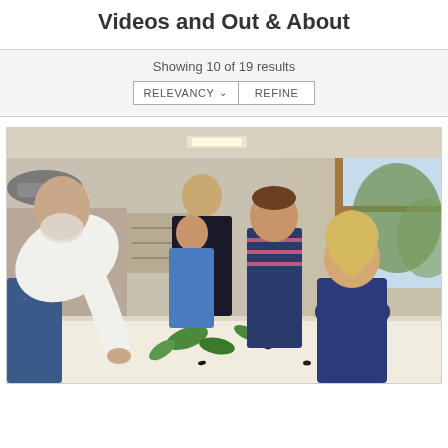Videos and Out & About
Showing 10 of 19 results
RELEVANCY    REFINE
[Figure (photo): An older man wearing a gray cap and white shirt leans over a table showing children natural specimens (leaves and insects). Several children and an adult woman look on attentively in a bright, wood-paneled room with large windows.]